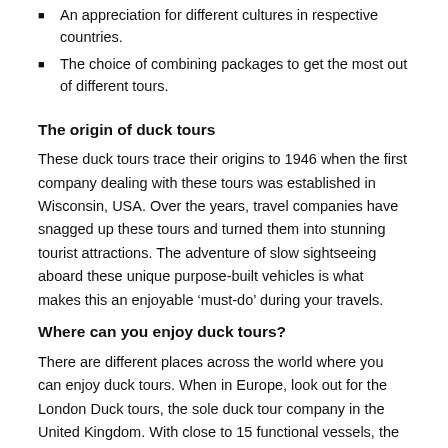An appreciation for different cultures in respective countries.
The choice of combining packages to get the most out of different tours.
The origin of duck tours
These duck tours trace their origins to 1946 when the first company dealing with these tours was established in Wisconsin, USA. Over the years, travel companies have snagged up these tours and turned them into stunning tourist attractions. The adventure of slow sightseeing aboard these unique purpose-built vehicles is what makes this an enjoyable ‘must-do’ during your travels.
Where can you enjoy duck tours?
There are different places across the world where you can enjoy duck tours. When in Europe, look out for the London Duck tours, the sole duck tour company in the United Kingdom. With close to 15 functional vessels, the company’s